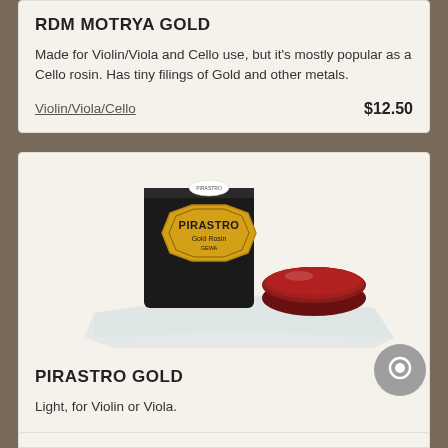RDM MOTRYA GOLD
Made for Violin/Viola and Cello use, but it's mostly popular as a Cello rosin. Has tiny filings of Gold and other metals.
Violin/Viola/Cello    $12.50
[Figure (photo): Pirastro Gold rosin product photo showing a black octagonal box with gold Pirastro label, a red round rosin cake, and a white cloth/wrapper on a light background.]
PIRASTRO GOLD
Light, for Violin or Viola.
Violin/Viola